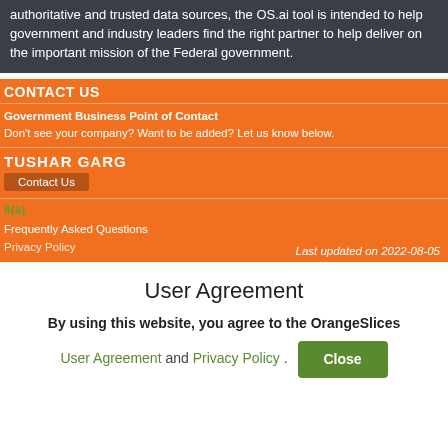authoritative and trusted data sources, the OS.ai tool is intended to help government and industry leaders find the right partner to help deliver on the important mission of the Federal government.
CONTACT US
Government Business Point of Contact
Don't see your company? Want to be added? Let us know below.
TUSHAR GARG
Contact Us
8(a)
Frequently Asked Questions
Privacy Policy
Last updated on 2022-08-05
User Agreement
By using this website, you agree to the OrangeSlices
User Agreement and Privacy Policy. Close